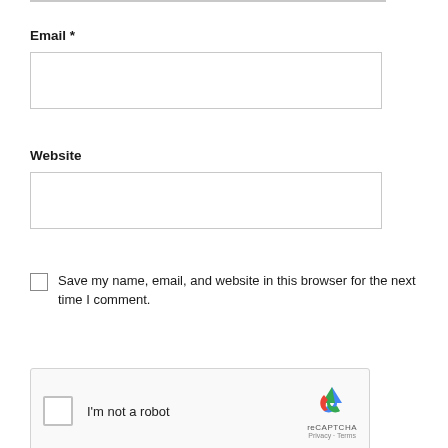Email *
[Figure (screenshot): Empty email input text field with light gray border]
Website
[Figure (screenshot): Empty website input text field with light gray border]
Save my name, email, and website in this browser for the next time I comment.
[Figure (screenshot): reCAPTCHA widget with checkbox, 'I'm not a robot' text, reCAPTCHA logo, and Privacy/Terms links]